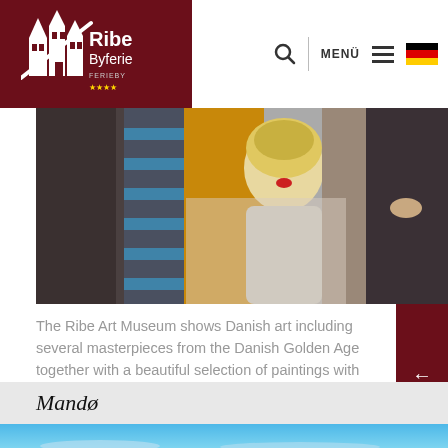Ribe Byferie - MENU
[Figure (photo): Children at an art museum, viewed from behind, one child with blonde hair and red hair tie]
The Ribe Art Museum shows Danish art including several masterpieces from the Danish Golden Age together with a beautiful selection of paintings with sights from Ribe. Several times a year Ribe Art Museum has special exhibitions with different themes.
Mandø
[Figure (photo): Blue sky with light clouds at the bottom, beginning of an outdoor photograph]